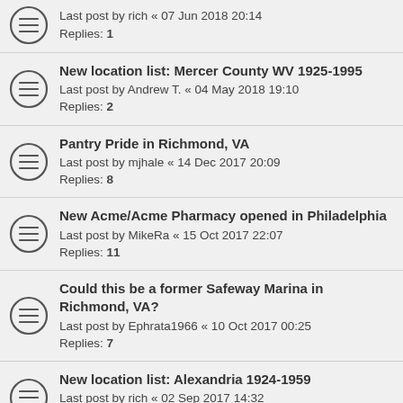Last post by rich « 07 Jun 2018 20:14
Replies: 1
New location list: Mercer County WV 1925-1995
Last post by Andrew T. « 04 May 2018 19:10
Replies: 2
Pantry Pride in Richmond, VA
Last post by mjhale « 14 Dec 2017 20:09
Replies: 8
New Acme/Acme Pharmacy opened in Philadelphia
Last post by MikeRa « 15 Oct 2017 22:07
Replies: 11
Could this be a former Safeway Marina in Richmond, VA?
Last post by Ephrata1966 « 10 Oct 2017 00:25
Replies: 7
New location list: Alexandria 1924-1959
Last post by rich « 02 Sep 2017 14:32
Replies: 1